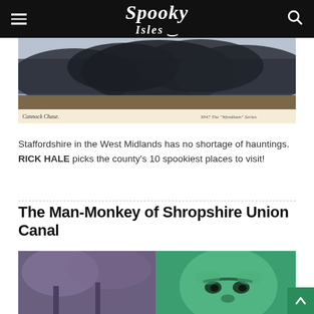Spooky Isles
[Figure (photo): Vintage sepia postcard photo of Cannock Chase woodland with caption 'Cannock Chase.' on left and '3847 The "Wyndham" Series' on right]
Staffordshire in the West Midlands has no shortage of hauntings. RICK HALE picks the county's 10 spookiest places to visit!
The Man-Monkey of Shropshire Union Canal
[Figure (photo): Composite image showing a monkey/primate face on right with green tint overlay, and blurred trees on left with purple tint]